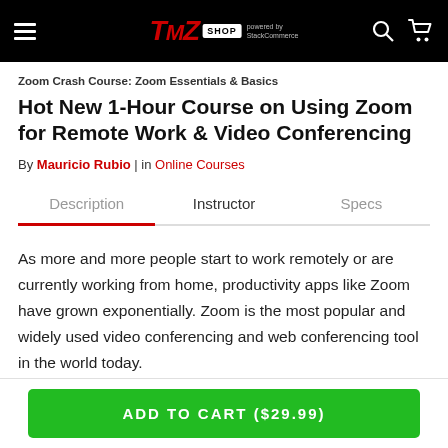TMZ SHOP powered by StackCommerce
Zoom Crash Course: Zoom Essentials & Basics
Hot New 1-Hour Course on Using Zoom for Remote Work & Video Conferencing
By Mauricio Rubio | in Online Courses
Description  Instructor  Specs
As more and more people start to work remotely or are currently working from home, productivity apps like Zoom have grown exponentially. Zoom is the most popular and widely used video conferencing and web conferencing tool in the world today.
ADD TO CART ($29.99)